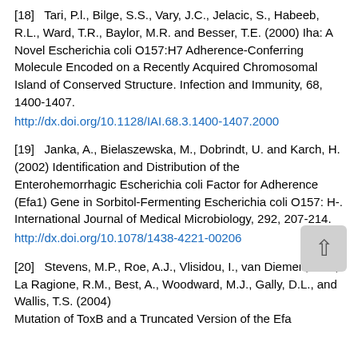[18]   Tari, P.l., Bilge, S.S., Vary, J.C., Jelacic, S., Habeeb, R.L., Ward, T.R., Baylor, M.R. and Besser, T.E. (2000) Iha: A Novel Escherichia coli O157:H7 Adherence-Conferring Molecule Encoded on a Recently Acquired Chromosomal Island of Conserved Structure. Infection and Immunity, 68, 1400-1407.
http://dx.doi.org/10.1128/IAI.68.3.1400-1407.2000
[19]   Janka, A., Bielaszewska, M., Dobrindt, U. and Karch, H. (2002) Identification and Distribution of the Enterohemorrhagic Escherichia coli Factor for Adherence (Efa1) Gene in Sorbitol-Fermenting Escherichia coli O157: H-. International Journal of Medical Microbiology, 292, 207-214.
http://dx.doi.org/10.1078/1438-4221-00206
[20]   Stevens, M.P., Roe, A.J., Vlisidou, I., van Diemen, P.M., La Ragione, R.M., Best, A., Woodward, M.J., Gally, D.L., and Wallis, T.S. (2004) Mutation of ToxB and a Truncated Version of the Efa...